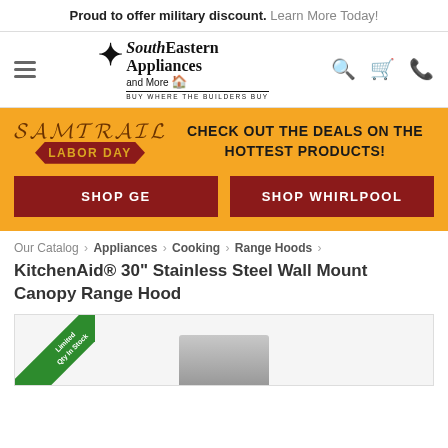Proud to offer military discount. Learn More Today!
[Figure (logo): SouthEastern Appliances and More logo with star icon and tagline BUY WHERE THE BUILDERS BUY]
[Figure (infographic): Labor Day sale banner on orange background with Labor Day ribbon icon and text CHECK OUT THE DEALS ON THE HOTTEST PRODUCTS! with two dark red buttons: SHOP GE and SHOP WHIRLPOOL]
Our Catalog › Appliances › Cooking › Range Hoods ›
KitchenAid® 30" Stainless Steel Wall Mount Canopy Range Hood
[Figure (photo): Product image area showing Limited Qty In Stock badge in green corner ribbon and partial view of stainless steel range hood]